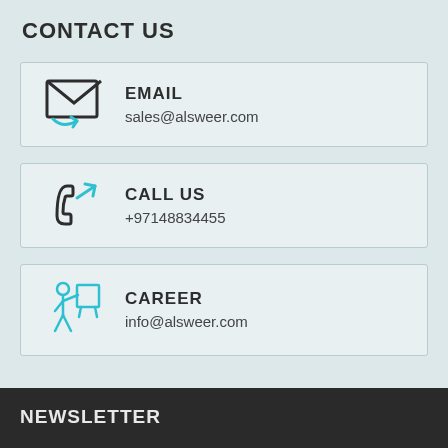CONTACT US
EMAIL
sales@alsweer.com
CALL US
+97148834455
CAREER
info@alsweer.com
NEWSLETTER